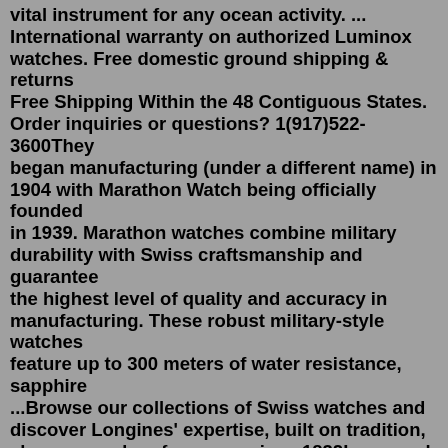vital instrument for any ocean activity. ... International warranty on authorized Luminox watches. Free domestic ground shipping & returns Free Shipping Within the 48 Contiguous States. Order inquiries or questions? 1(917)522-3600They began manufacturing (under a different name) in 1904 with Marathon Watch being officially founded in 1939. Marathon watches combine military durability with Swiss craftsmanship and guarantee the highest level of quality and accuracy in manufacturing. These robust military-style watches feature up to 300 meters of water resistance, sapphire ...Browse our collections of Swiss watches and discover Longines' expertise, built on tradition, elegance and performance since 1832In general, stainless steel watches are the more affordable option when compared to titanium watches in the same range. That doesn't mean there aren't amazing affordable titanium watches, however. The Seiko Presage SARX055 (Amazon), for example, is a gorgeous affordable titanium watch that has a whole